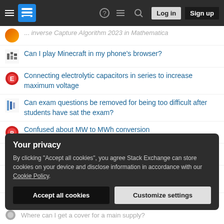Stack Exchange — Log in / Sign up
Can I play Minecraft in my phone's browser?
Connecting electrolytic capacitors in series to increase maximum voltage
Can exam questions be removed for being too difficult after students have sat the exam?
Confused about MW to MWh conversion
An abandoned Connect Wall
Field Calculator in Graphical Modeller always returns 0 or NULL
Is there a method faster than FindFit to fit conical elliptical cylinder to point data?
Your privacy
By clicking "Accept all cookies", you agree Stack Exchange can store cookies on your device and disclose information in accordance with our Cookie Policy.
Accept all cookies  Customize settings
Where can I get a cover for a main supply?